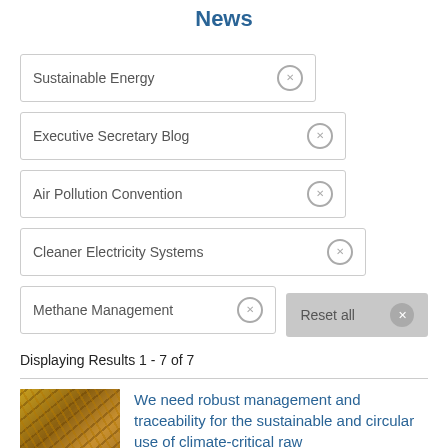News
Sustainable Energy ×
Executive Secretary Blog ×
Air Pollution Convention ×
Cleaner Electricity Systems ×
Methane Management ×
Displaying Results 1 - 7 of 7
[Figure (photo): Close-up photo of tangled golden/copper metallic wires or cables]
We need robust management and traceability for the sustainable and circular use of climate-critical raw